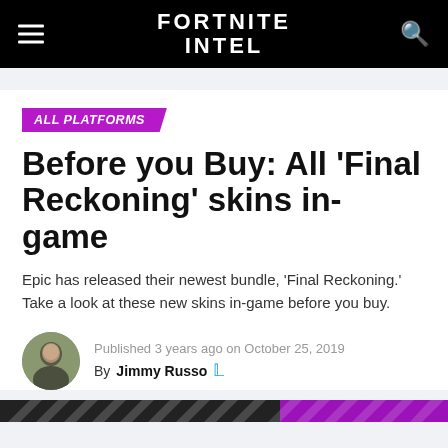FORTNITE INTEL
ALL PLATFORMS
Before you Buy: All 'Final Reckoning' skins in-game
Epic has released their newest bundle, 'Final Reckoning.' Take a look at these new skins in-game before you buy.
Published 3 years ago on October 25, 2019
By Jimmy Russo
[Figure (illustration): Decorative diagonal stripe bar in black and purple at bottom of article header]